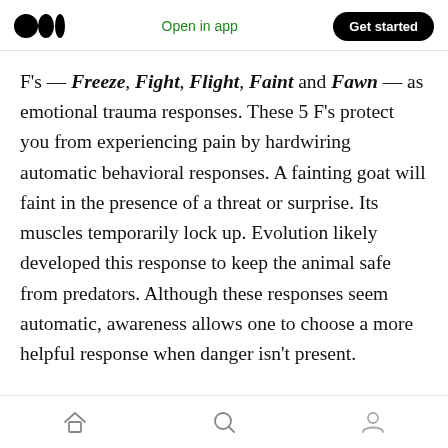Medium logo | Open in app | Get started
F's — Freeze, Fight, Flight, Faint and Fawn — as emotional trauma responses. These 5 F's protect you from experiencing pain by hardwiring automatic behavioral responses. A fainting goat will faint in the presence of a threat or surprise. Its muscles temporarily lock up. Evolution likely developed this response to keep the animal safe from predators. Although these responses seem automatic, awareness allows one to choose a more helpful response when danger isn't present.
Under normal circumstances, the body responds
Home | Search | Profile